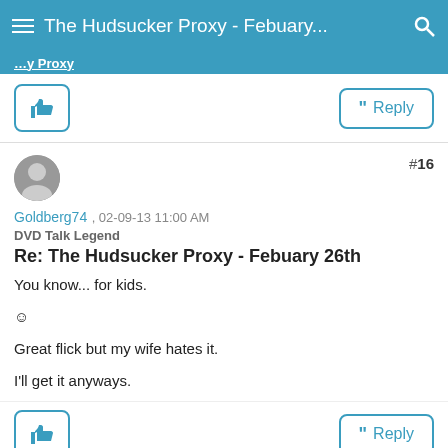The Hudsucker Proxy - Febuary...
[truncated content above]
[Like button] [Reply button]
Goldberg74 , 02-09-13 11:00 AM
DVD Talk Legend
Re: The Hudsucker Proxy - Febuary 26th
You know... for kids.

☺

Great flick but my wife hates it.

I'll get it anyways.
[Like button] [Reply button]